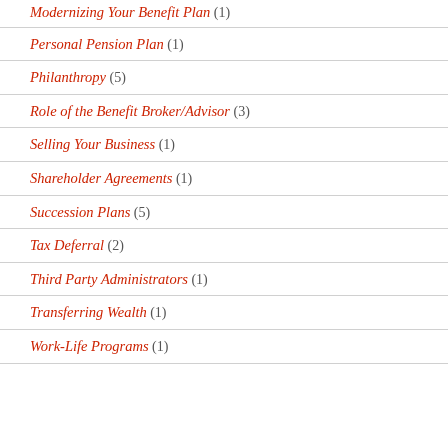Modernizing Your Benefit Plan (1)
Personal Pension Plan (1)
Philanthropy (5)
Role of the Benefit Broker/Advisor (3)
Selling Your Business (1)
Shareholder Agreements (1)
Succession Plans (5)
Tax Deferral (2)
Third Party Administrators (1)
Transferring Wealth (1)
Work-Life Programs (1)